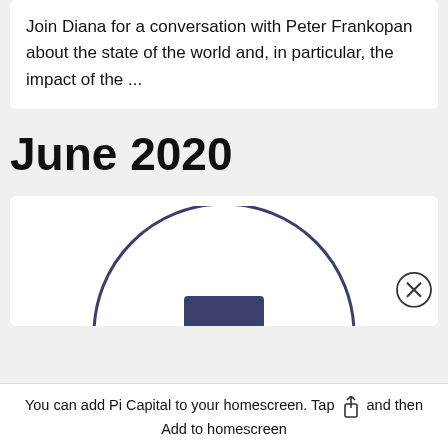Join Diana for a conversation with Peter Frankopan about the state of the world and, in particular, the impact of the ...
June 2020
[Figure (illustration): Partial view of a circular illustration showing a dark navy arc/semicircle with a rectangular block inside, partially cropped at the bottom of the card.]
You can add Pi Capital to your homescreen. Tap [share icon] and then Add to homescreen